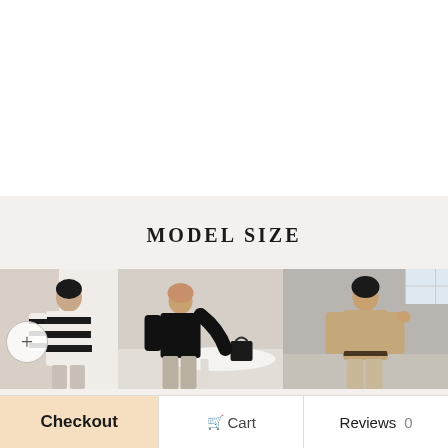[Figure (photo): White background / empty top portion of a mobile e-commerce product page]
MODEL SIZE
[Figure (photo): Three fashion model photos side by side: left shows a woman in black-striped white sweater, center shows a woman in black top seated at a round table with a black bag, right shows a woman in beige/tan knit top standing in a grey room]
Checkout
Cart
Reviews 0